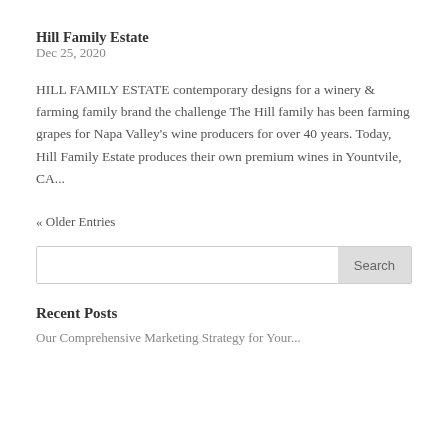Hill Family Estate
Dec 25, 2020
HILL FAMILY ESTATE contemporary designs for a winery & farming family brand the challenge The Hill family has been farming grapes for Napa Valley's wine producers for over 40 years. Today, Hill Family Estate produces their own premium wines in Yountvile, CA...
« Older Entries
Search
Recent Posts
Our Comprehensive Marketing Strategy for Your...